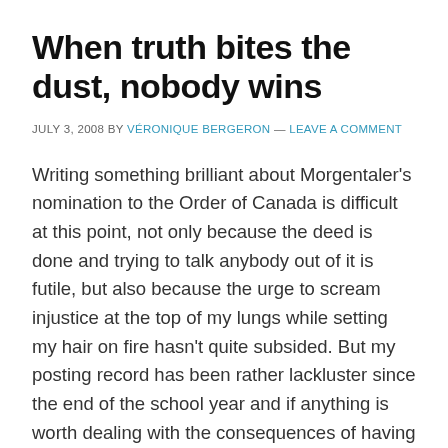When truth bites the dust, nobody wins
JULY 3, 2008 BY VÉRONIQUE BERGERON — LEAVE A COMMENT
Writing something brilliant about Morgentaler's nomination to the Order of Canada is difficult at this point, not only because the deed is done and trying to talk anybody out of it is futile, but also because the urge to scream injustice at the top of my lungs while setting my hair on fire hasn't quite subsided. But my posting record has been rather lackluster since the end of the school year and if anything is worth dealing with the consequences of having five unattended children roaming about